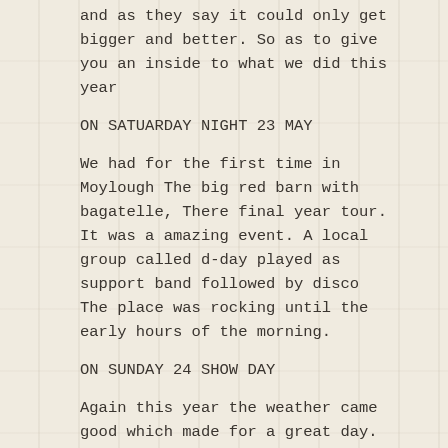and as they say it could only get bigger and better. So as to give you an inside to what we did this year
ON SATUARDAY NIGHT 23 MAY
We had for the first time in Moylough The big red barn with bagatelle, There final year tour. It was a amazing event. A local group called d-day played as support band followed by disco The place was rocking until the early hours of the morning.
ON SUNDAY 24 SHOW DAY
Again this year the weather came good which made for a great day.
The people came from far and